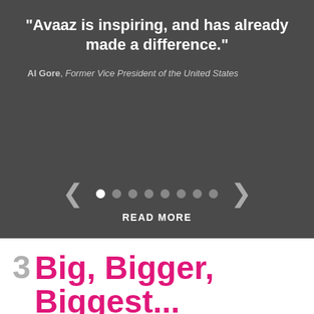“Avaaz is inspiring, and has already made a difference.”
Al Gore, Former Vice President of the United States
[Figure (other): Carousel navigation with left and right arrows and 8 pagination dots, first dot active/white]
READ MORE
3 Big, Bigger, Biggest... Creating